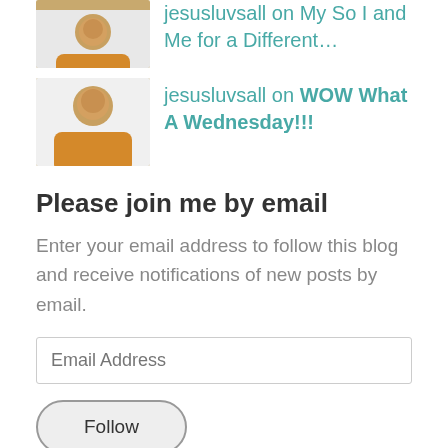jesusluvsall on My So I and Me for a Different…
jesusluvsall on WOW What A Wednesday!!!
Please join me by email
Enter your email address to follow this blog and receive notifications of new posts by email.
Email Address
Follow